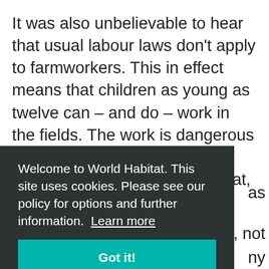It was also unbelievable to hear that usual labour laws don't apply to farmworkers. This in effect means that children as young as twelve can – and do – work in the fields. The work is dangerous and physically demanding. It means long days out in the heat, minimal access to toilets and exposure to pesticides. Even more distressing when considering the effects on children
Welcome to World Habitat. This site uses cookies. Please see our policy for options and further information. Learn more
Got it!